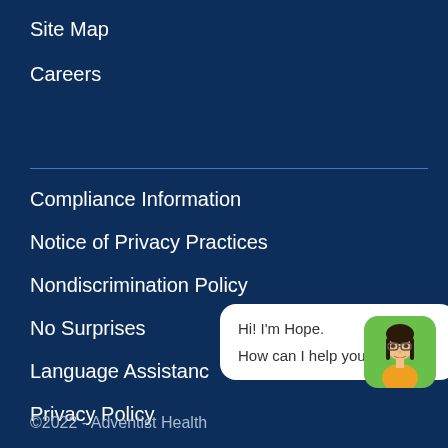Site Map
Careers
Compliance Information
Notice of Privacy Practices
Nondiscrimination Policy
No Surprises
Language Assistance
Privacy Policy
[Figure (illustration): Chat widget with avatar of a woman with glasses and dark hair on a green rounded square background, with a speech bubble saying 'Hi! I'm Hope. How can I help you?']
©2022 - Adventist Health